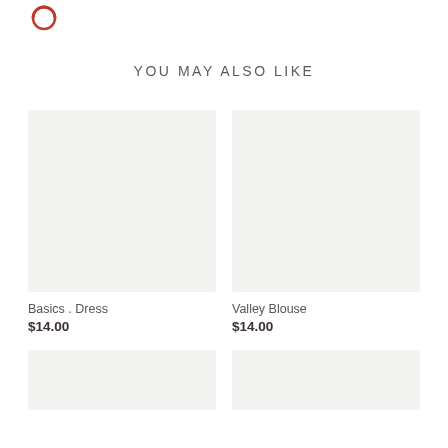[Figure (logo): Red circular logo icon in the top left corner]
YOU MAY ALSO LIKE
[Figure (photo): Product image placeholder for Basics . Dress]
Basics . Dress
$14.00
[Figure (photo): Product image placeholder for Valley Blouse]
Valley Blouse
$14.00
[Figure (photo): Product image placeholder bottom left]
[Figure (photo): Product image placeholder bottom right]